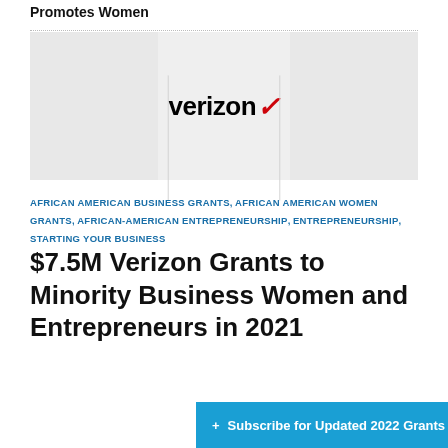Promotes Women
[Figure (logo): Verizon logo centered on a light gray banner with darker gray panels on left and right sides]
AFRICAN AMERICAN BUSINESS GRANTS, AFRICAN AMERICAN WOMEN GRANTS, AFRICAN-AMERICAN ENTREPRENEURSHIP, ENTREPRENEURSHIP, STARTING YOUR BUSINESS
$7.5M Verizon Grants to Minority Business Women and Entrepreneurs in 2021
+ Subscribe for Updated 2022 Grants